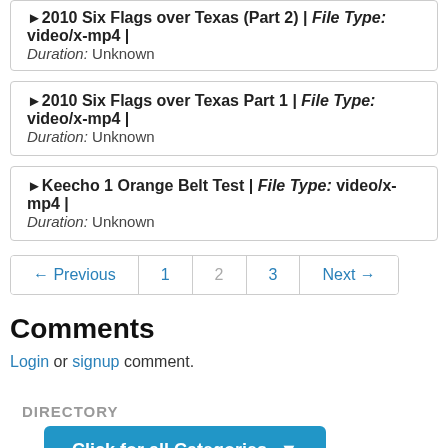▶2010 Six Flags over Texas (Part 2) | File Type: video/x-mp4 | Duration: Unknown
▶2010 Six Flags over Texas Part 1 | File Type: video/x-mp4 | Duration: Unknown
▶Keecho 1 Orange Belt Test | File Type: video/x-mp4 | Duration: Unknown
← Previous  1  2  3  Next →
Comments
Login or signup comment.
DIRECTORY
Click for all Categories ▾
♥ Featured Podcasts